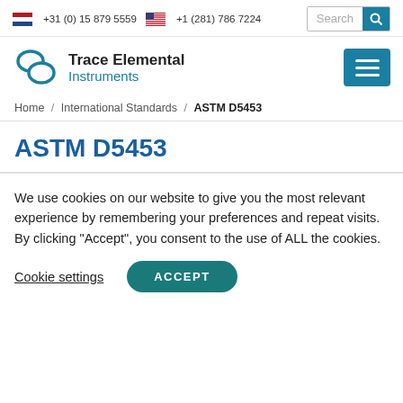+31 (0) 15 879 5559   +1 (281) 786 7224
[Figure (logo): Trace Elemental Instruments logo with speech bubble icon]
Home / International Standards / ASTM D5453
ASTM D5453
We use cookies on our website to give you the most relevant experience by remembering your preferences and repeat visits. By clicking "Accept", you consent to the use of ALL the cookies.
Cookie settings   ACCEPT